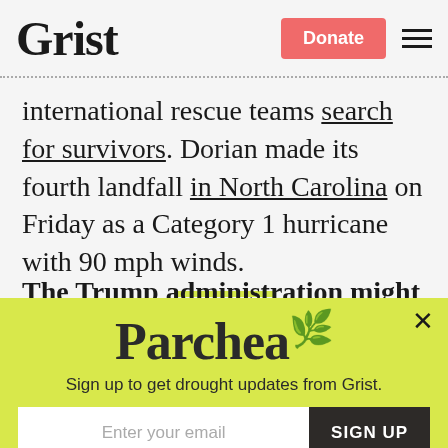Grist | Donate
international rescue teams search for survivors. Dorian made its fourth landfall in North Carolina on Friday as a Category 1 hurricane with 90 mph winds.
The Trump administration might revoke Californi...
[Figure (screenshot): Parchea modal popup with yellow-green background. Contains 'Parchea' logo, subtitle 'Sign up to get drought updates from Grist.', email input field with placeholder 'Enter your email', a 'SIGN UP' button, and a 'No thanks' link. Close (X) button in top right.]